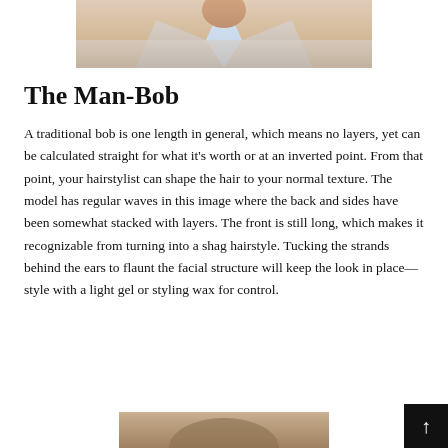[Figure (photo): Top portion of a photo showing a person in a light beige/cream suit jacket with a light blue shirt, cropped at the neck/shoulders area]
The Man-Bob
A traditional bob is one length in general, which means no layers, yet can be calculated straight for what it's worth or at an inverted point. From that point, your hairstylist can shape the hair to your normal texture. The model has regular waves in this image where the back and sides have been somewhat stacked with layers. The front is still long, which makes it recognizable from turning into a shag hairstyle. Tucking the strands behind the ears to flaunt the facial structure will keep the look in place—style with a light gel or styling wax for control.
[Figure (photo): Bottom portion of another photo, partially visible, showing what appears to be a person with wavy/curly hair]